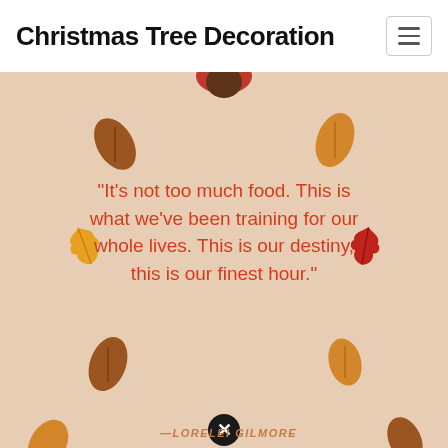Christmas Tree Decoration
[Figure (illustration): Autumn/Thanksgiving themed card with warm beige background, fall leaves decorations, and a quote in red text. A partial illustration of a character appears at the top. A close/dismiss button (circled X) appears at the bottom center.]
"It's not too much food. This is what we've been training for our whole lives. This is our destiny, this is our finest hour."
—LORELEI GILMORE